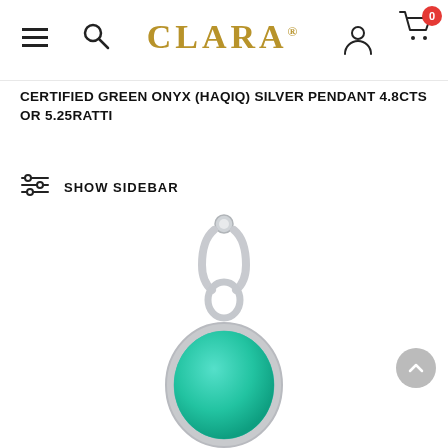CLARA
CERTIFIED GREEN ONYX (HAQIQ) SILVER PENDANT 4.8CTS OR 5.25RATTI
SHOW SIDEBAR
[Figure (photo): A silver pendant with a green onyx (haqiq) gemstone set in a silver bezel setting, partially visible from the top of the frame against a white background.]